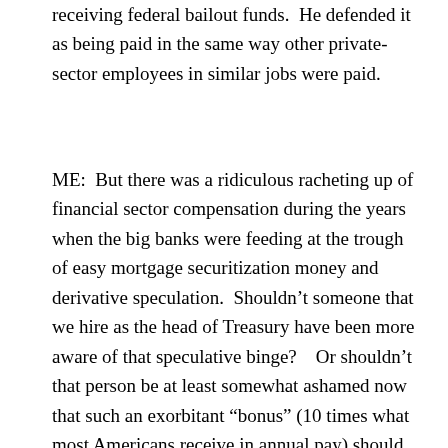receiving federal bailout funds.  He defended it as being paid in the same way other private-sector employees in similar jobs were paid.
ME:  But there was a ridiculous racheting up of financial sector compensation during the years when the big banks were feeding at the trough of easy mortgage securitization money and derivative speculation.  Shouldn't someone that we hire as the head of Treasury have been more aware of that speculative binge?    Or shouldn't that person be at least somewhat ashamed now that such an exorbitant “bonus” (10 times what most Americans receive in annual pay) should have been funded, in essential part, by taxpayer bailouts of his